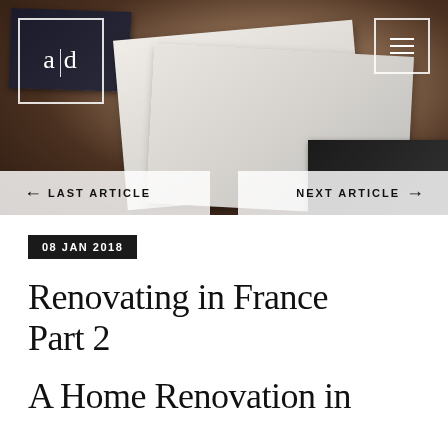[Figure (photo): Hero background photo of design documents, books and items on a desk, with dark warm tones]
a|d
← LAST ARTICLE     NEXT ARTICLE →
08 JAN 2018
Renovating in France Part 2
A Home Renovation in